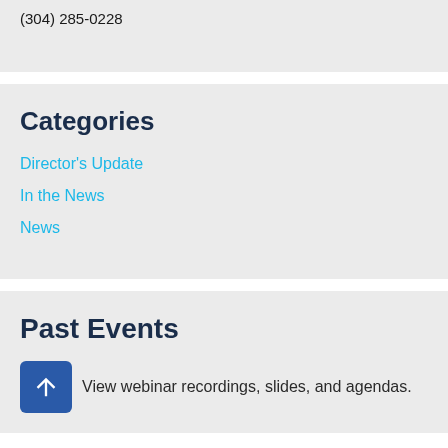(304) 285-0228
Categories
Director's Update
In the News
News
Past Events
View webinar recordings, slides, and agendas.